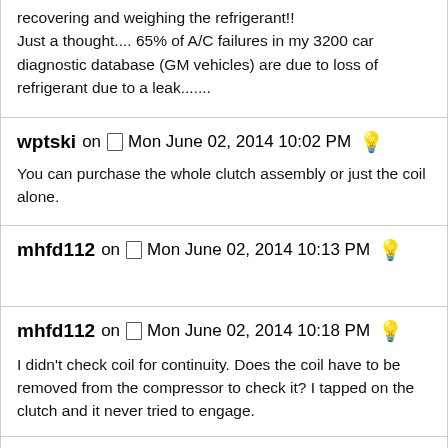recovering and weighing the refrigerant!!
Just a thought.... 65% of A/C failures in my 3200 car diagnostic database (GM vehicles) are due to loss of refrigerant due to a leak.......
wptski on Mon June 02, 2014 10:02 PM
You can purchase the whole clutch assembly or just the coil alone.
mhfd112 on Mon June 02, 2014 10:13 PM
mhfd112 on Mon June 02, 2014 10:18 PM
I didn't check coil for continuity. Does the coil have to be removed from the compressor to check it? I tapped on the clutch and it never tried to engage.
Dougflas on Mon June 02, 2014 10:34 PM